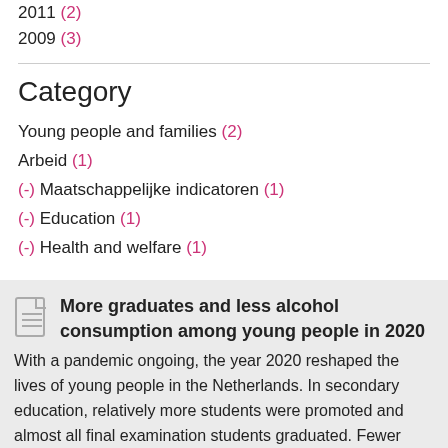2011 (2)
2009 (3)
Category
Young people and families (2)
Arbeid (1)
(-) Maatschappelijke indicatoren (1)
(-) Education (1)
(-) Health and welfare (1)
More graduates and less alcohol consumption among young people in 2020
With a pandemic ongoing, the year 2020 reshaped the lives of young people in the Netherlands. In secondary education, relatively more students were promoted and almost all final examination students graduated. Fewer